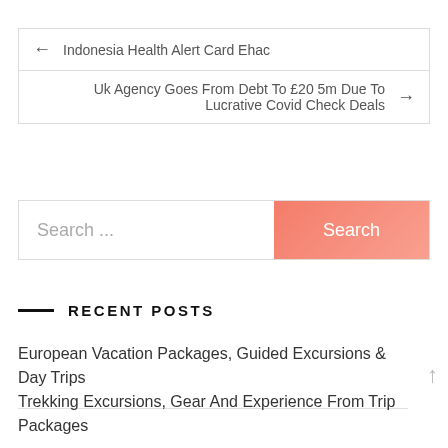← Indonesia Health Alert Card Ehac
Uk Agency Goes From Debt To £20 5m Due To Lucrative Covid Check Deals →
Search ...
Search
RECENT POSTS
European Vacation Packages, Guided Excursions & Day Trips
Trekking Excursions, Gear And Experience From Trip Packages